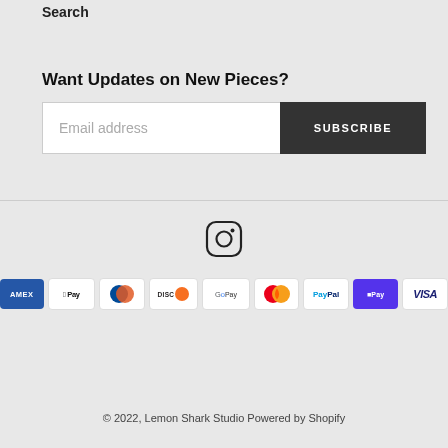Search
Want Updates on New Pieces?
[Figure (screenshot): Email address input field with SUBSCRIBE button]
[Figure (logo): Instagram icon]
[Figure (infographic): Payment method icons: Amex, Apple Pay, Diners, Discover, Google Pay, Mastercard, PayPal, Shop Pay, Visa]
© 2022, Lemon Shark Studio Powered by Shopify